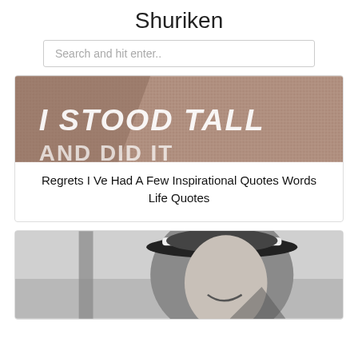Shuriken
Search and hit enter..
[Figure (photo): Image showing text 'I STOOD TALL' overlaid on a textured fabric/suit background, partially visible bottom text 'AND DID IT']
Regrets I Ve Had A Few Inspirational Quotes Words Life Quotes
[Figure (photo): Black and white photograph of a man wearing a white brimmed hat, smiling, cropped at bottom]